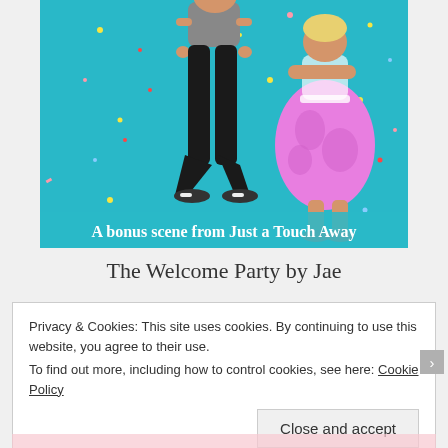[Figure (illustration): Book cover illustration showing two cartoon women on a teal/turquoise background with confetti. One woman wears black flared pants and a gray top, the other wears a pink patterned skirt. Text at the bottom reads 'A bonus scene from Just a Touch Away'.]
The Welcome Party by Jae
Privacy & Cookies: This site uses cookies. By continuing to use this website, you agree to their use.
To find out more, including how to control cookies, see here: Cookie Policy
Close and accept